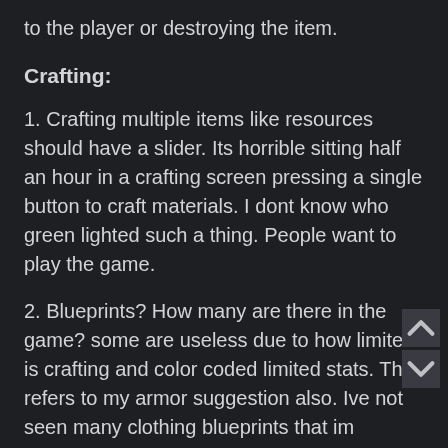to the player or destroying the item.
Crafting:
1. Crafting multiple items like resources should have a slider. Its horrible sitting half an hour in a crafting screen pressing a single button to craft materials. I dont know who green lighted such a thing. People want to play the game.
2. Blueprints? How many are there in the game? some are useless due to how limited is crafting and color coded limited stats. This refers to my armor suggestion also. Ive not seen many clothing blueprints that im interested and when I finally want to buy them, their stats are low or unusable. Again style over substance but I got no choice in that. Can you guys actually make these more